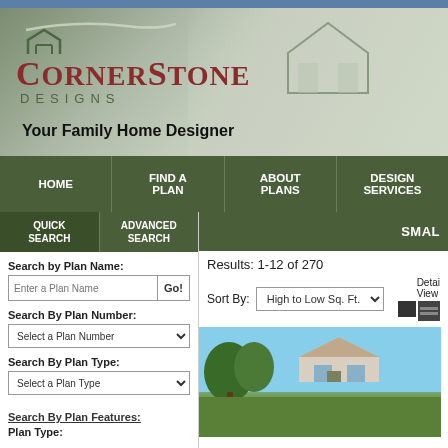[Figure (screenshot): Cornerstone Designs website screenshot showing banner with logo, navigation bar, search sidebar, and house plan results]
CORNERSTONE DESIGNS — Your Family Home Designer
HOME | FIND A PLAN | ABOUT PLANS | DESIGN SERVICES
QUICK SEARCH | ADVANCED SEARCH
Search by Plan Name:
Enter a Plan Name  Go!
Search By Plan Number:
Select a Plan Number
Search By Plan Type:
Select a Plan Type
Search By Plan Features:
Plan Type:
SMALL
Results: 1-12 of 270
Sort By: High to Low Sq. Ft.
Detail
View